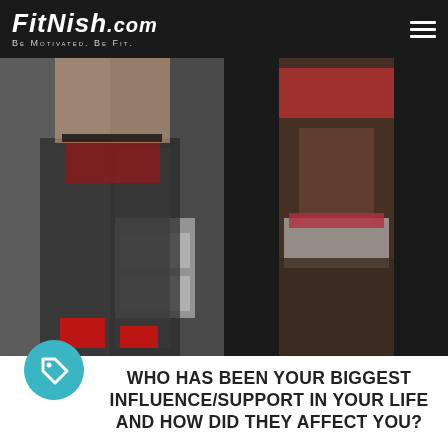FitNish.com — Be Motivated. Be Fit.
[Figure (photo): Two side-by-side fitness photos: left shows a person in fishnet stockings and red high heels; right shows a toned woman in red bra and denim shorts showing toned abs.]
WHO HAS BEEN YOUR BIGGEST INFLUENCE/SUPPORT IN YOUR LIFE AND HOW DID THEY AFFECT YOU?